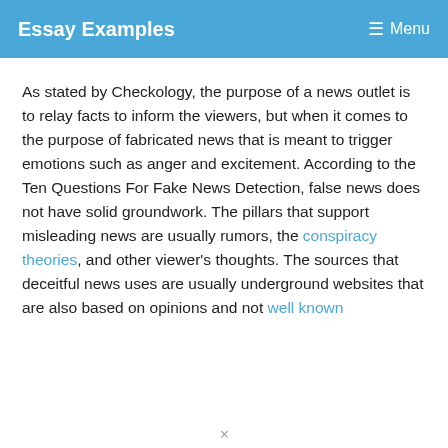Essay Examples  ☰ Menu
As stated by Checkology, the purpose of a news outlet is to relay facts to inform the viewers, but when it comes to the purpose of fabricated news that is meant to trigger emotions such as anger and excitement. According to the Ten Questions For Fake News Detection, false news does not have solid groundwork. The pillars that support misleading news are usually rumors, the conspiracy theories, and other viewer's thoughts. The sources that deceitful news uses are usually underground websites that are also based on opinions and not well known